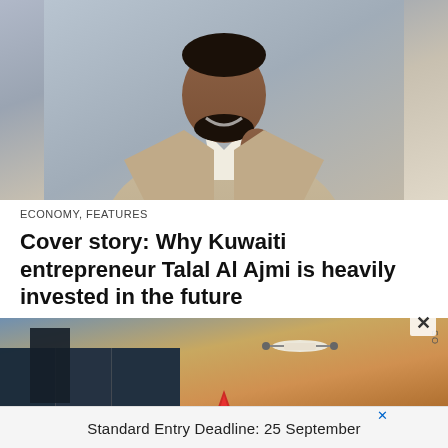[Figure (photo): Portrait of a smiling man in a beige/tan suit adjusting his tie, wearing a watch, against a gray background]
ECONOMY, FEATURES
Cover story: Why Kuwaiti entrepreneur Talal Al Ajmi is heavily invested in the future
[Figure (photo): A scene showing a drone flying over shipping containers with a sunset sky in the background, partially obscured by an advertisement overlay]
Standard Entry Deadline: 25 September